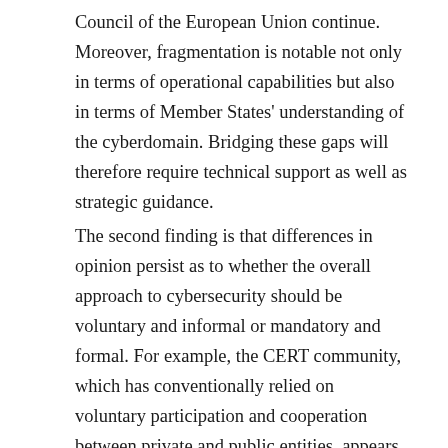Council of the European Union continue. Moreover, fragmentation is notable not only in terms of operational capabilities but also in terms of Member States' understanding of the cyberdomain. Bridging these gaps will therefore require technical support as well as strategic guidance.
The second finding is that differences in opinion persist as to whether the overall approach to cybersecurity should be voluntary and informal or mandatory and formal. For example, the CERT community, which has conventionally relied on voluntary participation and cooperation between private and public entities, appears less willing to move to a system in which information sharing is mandatory. In contrast, other security agencies favour law enforcement and support more stringent requirements, for instance in